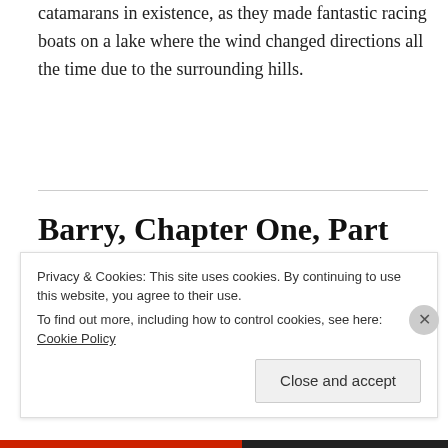catamarans in existence, as they made fantastic racing boats on a lake where the wind changed directions all the time due to the surrounding hills.
Barry, Chapter One, Part IX
NOVEMBER 5, 2015 / 2 COMMENTS
A four mile walk is not bad for a 14-year-old, though I
Privacy & Cookies: This site uses cookies. By continuing to use this website, you agree to their use.
To find out more, including how to control cookies, see here: Cookie Policy
Close and accept